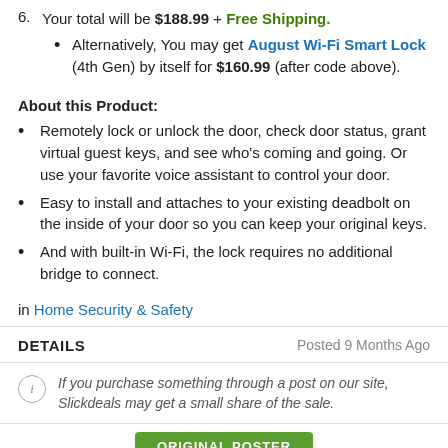6. Your total will be $188.99 + Free Shipping.
Alternatively, You may get August Wi-Fi Smart Lock (4th Gen) by itself for $160.99 (after code above).
About this Product:
Remotely lock or unlock the door, check door status, grant virtual guest keys, and see who's coming and going. Or use your favorite voice assistant to control your door.
Easy to install and attaches to your existing deadbolt on the inside of your door so you can keep your original keys.
And with built-in Wi-Fi, the lock requires no additional bridge to connect.
in Home Security & Safety
DETAILS    Posted 9 Months Ago
If you purchase something through a post on our site, Slickdeals may get a small share of the sale.
ORIGINAL POSTER